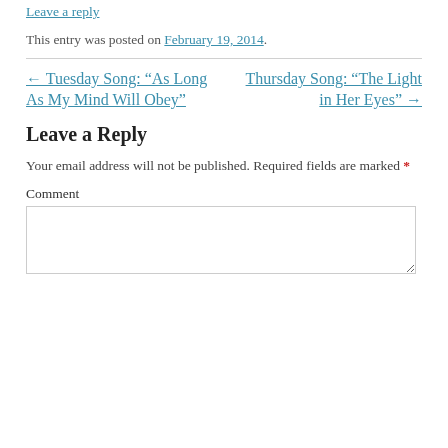Leave a reply
This entry was posted on February 19, 2014.
← Tuesday Song: “As Long As My Mind Will Obey”
Thursday Song: “The Light in Her Eyes” →
Leave a Reply
Your email address will not be published. Required fields are marked *
Comment